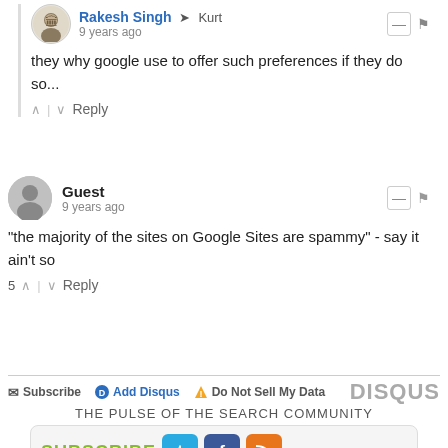Rakesh Singh → Kurt
9 years ago
they why google use to offer such preferences if they do so...
Guest
9 years ago
"the majority of the sites on Google Sites are spammy" - say it ain't so
Subscribe  Add Disqus  Do Not Sell My Data   DISQUS
THE PULSE OF THE SEARCH COMMUNITY
SUBSCRIBE
Enter Email Address  Subscribe Now
SUBSCRIBE OPTIONS